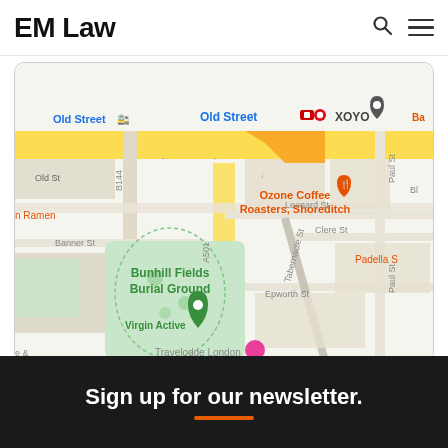EM Law
[Figure (map): Google Maps screenshot showing Old Street area in London, including: Old Street tube/rail station, XOYO venue, Ozone Coffee Roasters Shoreditch, Bunhill Fields Burial Ground, Virgin Active, Banner St, Leonard St, Epworth St, Clere St, Tabernacle St, Paul St, B144 road, A501 road, and a green location pin marker.]
Sign up for our newsletter.